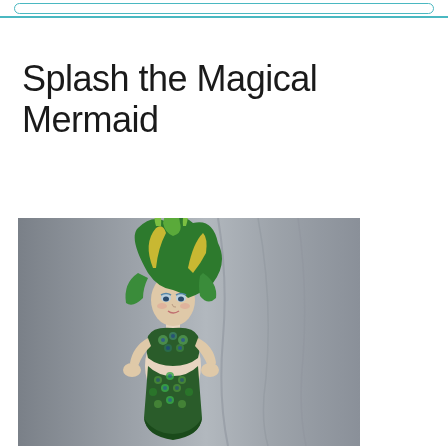Splash the Magical Mermaid
[Figure (photo): A handmade art doll of a mermaid named Splash, with wild green and yellow felted hair, a pale face with blue eye makeup, wearing a green and blue floral/scale-patterned bodice and skirt, posed against a grey fabric backdrop.]